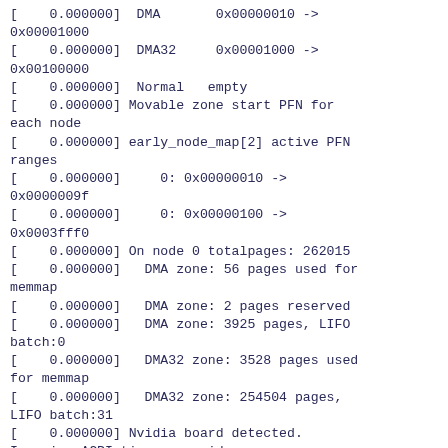[    0.000000]  DMA       0x00000010 -> 0x00001000
[    0.000000]  DMA32     0x00001000 -> 0x00100000
[    0.000000]  Normal   empty
[    0.000000] Movable zone start PFN for each node
[    0.000000] early_node_map[2] active PFN ranges
[    0.000000]     0: 0x00000010 -> 0x0000009f
[    0.000000]     0: 0x00000100 -> 0x0003fff0
[    0.000000] On node 0 totalpages: 262015
[    0.000000]   DMA zone: 56 pages used for memmap
[    0.000000]   DMA zone: 2 pages reserved
[    0.000000]   DMA zone: 3925 pages, LIFO batch:0
[    0.000000]   DMA32 zone: 3528 pages used for memmap
[    0.000000]   DMA32 zone: 254504 pages, LIFO batch:31
[    0.000000] Nvidia board detected. Ignoring ACPI timer override.
[    0.000000] If you got timer trouble try acpi_use_timer_override
[    0.000000] ACPI: PM-Timer IO Port: 0x4008
[    0.000000] ACPI: Local APIC address 0xfee00000